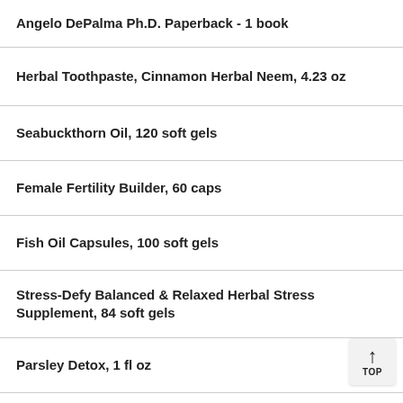Angelo DePalma Ph.D. Paperback - 1 book
Herbal Toothpaste, Cinnamon Herbal Neem, 4.23 oz
Seabuckthorn Oil, 120 soft gels
Female Fertility Builder, 60 caps
Fish Oil Capsules, 100 soft gels
Stress-Defy Balanced & Relaxed Herbal Stress Supplement, 84 soft gels
Parsley Detox, 1 fl oz
The Macrobiotic Way: The Complete Macrobiotic Diet & Exercise Book, Michio Kushi foreword by John Denver,